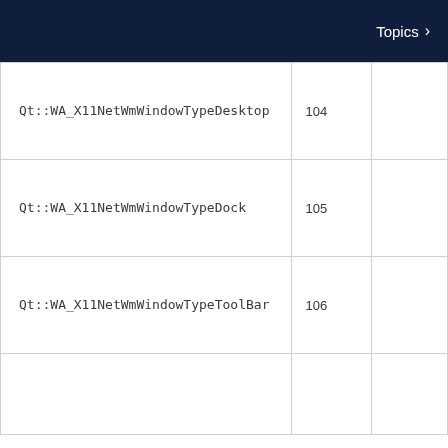Topics >
| Constant | Value |  |
| --- | --- | --- |
| Qt::WA_X11NetWmWindowTypeDesktop | 104 |  |
| Qt::WA_X11NetWmWindowTypeDock | 105 |  |
| Qt::WA_X11NetWmWindowTypeToolBar | 106 |  |
|  |  |  |